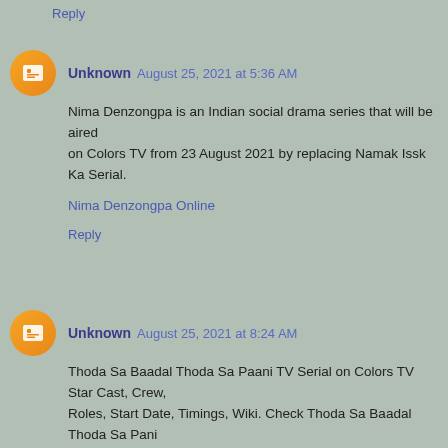Reply
Unknown August 25, 2021 at 5:36 AM
Nima Denzongpa is an Indian social drama series that will be aired
on Colors TV from 23 August 2021 by replacing Namak Issk Ka Serial.
Nima Denzongpa Online
Reply
Unknown August 25, 2021 at 8:24 AM
Thoda Sa Baadal Thoda Sa Paani TV Serial on Colors TV Star Cast, Crew,
Roles, Start Date, Timings, Wiki. Check Thoda Sa Baadal Thoda Sa Pani